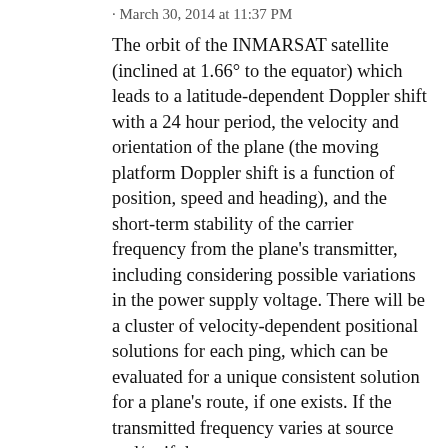· March 30, 2014 at 11:37 PM
The orbit of the INMARSAT satellite (inclined at 1.66° to the equator) which leads to a latitude-dependent Doppler shift with a 24 hour period, the velocity and orientation of the plane (the moving platform Doppler shift is a function of position, speed and heading), and the short-term stability of the carrier frequency from the plane's transmitter, including considering possible variations in the power supply voltage. There will be a cluster of velocity-dependent positional solutions for each ping, which can be evaluated for a unique consistent solution for a plane's route, if one exists. If the transmitted frequency varies at source and/or if the